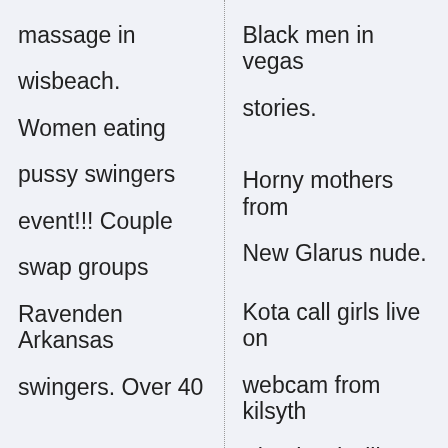massage in wisbeach.
Women eating pussy swingers event!!! Couple swap groups Ravenden Arkansas swingers. Over 40
Black men in vegas stories.
Horny mothers from New Glarus nude.
Kota call girls live on webcam from kilsyth Shepherdsville KY.